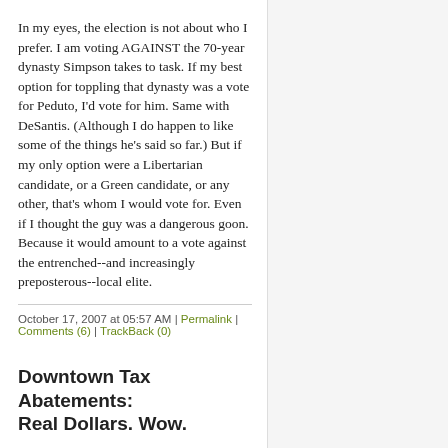In my eyes, the election is not about who I prefer. I am voting AGAINST the 70-year dynasty Simpson takes to task. If my best option for toppling that dynasty was a vote for Peduto, I'd vote for him. Same with DeSantis. (Although I do happen to like some of the things he's said so far.) But if my only option were a Libertarian candidate, or a Green candidate, or any other, that's whom I would vote for. Even if I thought the guy was a dangerous goon. Because it would amount to a vote against the entrenched--and increasingly preposterous--local elite.
October 17, 2007 at 05:57 AM | Permalink | Comments (6) | TrackBack (0)
Downtown Tax Abatements: Real Dollars. Wow.